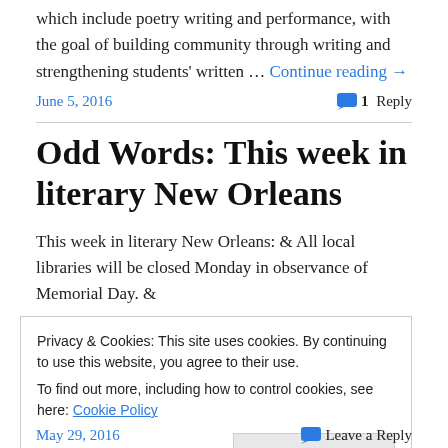which include poetry writing and performance, with the goal of building community through writing and strengthening students' written … Continue reading →
June 5, 2016   1 Reply
Odd Words: This week in literary New Orleans
This week in literary New Orleans: & All local libraries will be closed Monday in observance of Memorial Day. &
Privacy & Cookies: This site uses cookies. By continuing to use this website, you agree to their use.
To find out more, including how to control cookies, see here: Cookie Policy
Close and accept
May 29, 2016   Leave a Reply